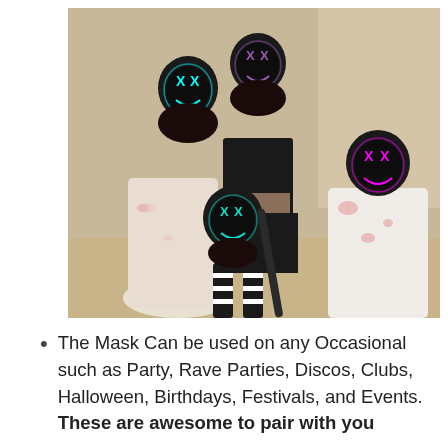[Figure (photo): Four people wearing glowing LED purge-style masks (cyan, purple, teal, and pink) with Halloween costumes including blood-stained white shirts and black outfits, posing together indoors.]
The Mask Can be used on any Occasional such as Party, Rave Parties, Discos, Clubs, Halloween, Birthdays, Festivals, and Events. These are awesome to pair with you...